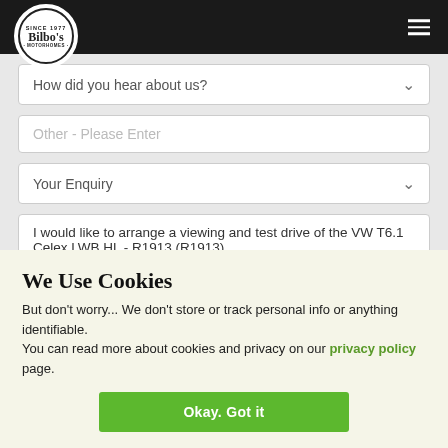Bilbo's Motorhomes - navigation header
How did you hear about us?
Other - Please Enter
Your Enquiry
I would like to arrange a viewing and test drive of the VW T6.1 Celex LWB HL - R1913 (R1913).
We Use Cookies
But don't worry... We don't store or track personal info or anything identifiable.
You can read more about cookies and privacy on our privacy policy page.
Okay. Got it